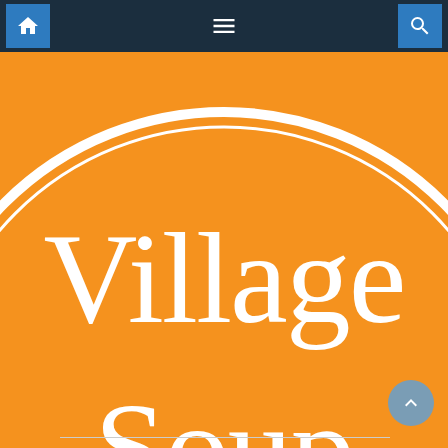Navigation bar with home, menu, and search icons
[Figure (logo): Village Soup logo — large orange circle with white serif text reading 'Village Soup']
Housing Crisis
digging our communities – Knox County VillageSoup